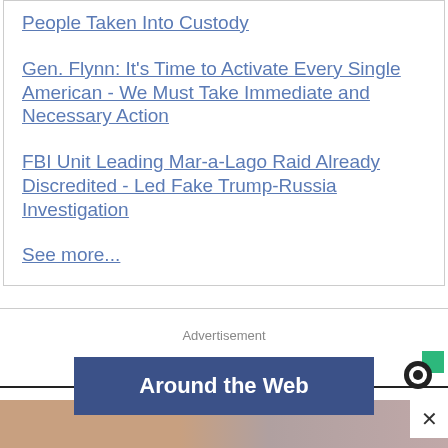People Taken Into Custody
Gen. Flynn: It's Time to Activate Every Single American - We Must Take Immediate and Necessary Action
FBI Unit Leading Mar-a-Lago Raid Already Discredited - Led Fake Trump-Russia Investigation
See more...
Advertisement
[Figure (other): Around the Web advertisement banner with blue button and Outbrain logo]
[Figure (photo): Partial photo of a person, advertisement image, with close button]